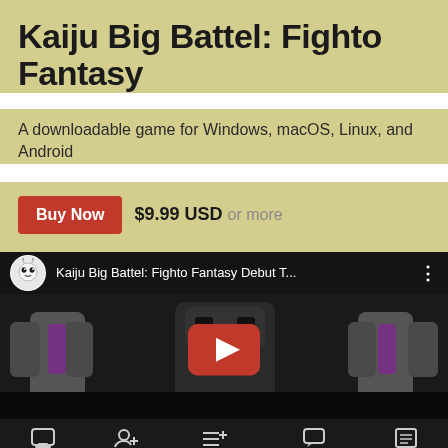Kaiju Big Battel: Fighto Fantasy
A downloadable game for Windows, macOS, Linux, and Android
Buy Now $9.99 USD or more
[Figure (screenshot): YouTube video embed showing Kaiju Big Battel: Fighto Fantasy Debut T... with a dark gameplay screenshot and YouTube play button overlay]
Creator | Follow | Collection | Comments | Devlog